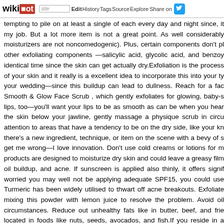wikidot | site Edit History Tags Source Explore Share on
tempting to pile on at least a single of each every day and night since, it my job. But a lot more item is not a great point. As well considerably moisturizers are not noncomedogenic). Plus, certain components don't pl other exfoliating components —salicylic acid, glycolic acid, and benzoy identical time since the skin can get actually dry.Exfoliation is the process of your skin and it really is a excellent idea to incorporate this into your ty your wedding—since this buildup can lead to dullness. Reach for a fac Smooth & Glow Face Scrub , which gently exfoliates for glowing, baby-s lips, too—you'll want your lips to be as smooth as can be when you hear the skin below your jawline, gently massage a physique scrub in circu attention to areas that have a tendency to be on the dry side, like your kn there's a new ingredient, technique, or item on the scene with a bevy of s get me wrong—I love innovation. Don't use cold creams or lotions for m products are designed to moisturize dry skin and could leave a greasy film oil buildup, and acne. If sunscreen is applied also thinly, it offers signif worried you may well not be applying adequate SPF15, you could use Turmeric has been widely utilised to thwart off acne breakouts. Exfoliate mixing this powder with lemon juice to resolve the problem. Avoid oil circumstances. Reduce out unhealthy fats like in butter, beef, and frie located in foods like nuts, seeds, avocados, and fish.If you reside in a noticed your skin can turn out to be dry and chapped as the temperature acne has been noticed by folks for several years. Analysis has found t androgens and cortisol in the course of times of higher pressure. In t causing them to enhance oil production. A healthy diet can aid your s excellent. Incorporate foods such as fruits, vegetables (both raw and coo Limit caffeine and alcohol intake due to the fact they can dry out your s benefits in dehydrating the skin. Other elements, like fried foods, soft dr can also have a comparable effect on the condition of your skin.1) In th